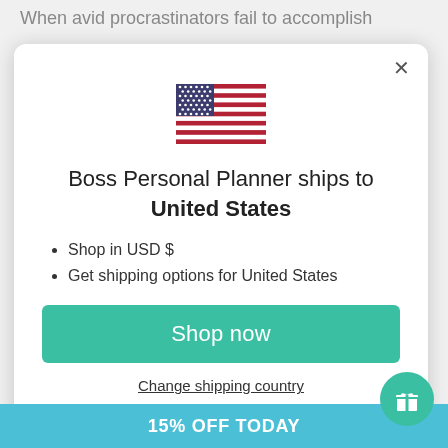When avid procrastinators fail to accomplish
[Figure (illustration): US flag emoji/illustration centered in modal dialog]
Boss Personal Planner ships to United States
Shop in USD $
Get shipping options for United States
Shop now
Change shipping country
15% OFF TODAY